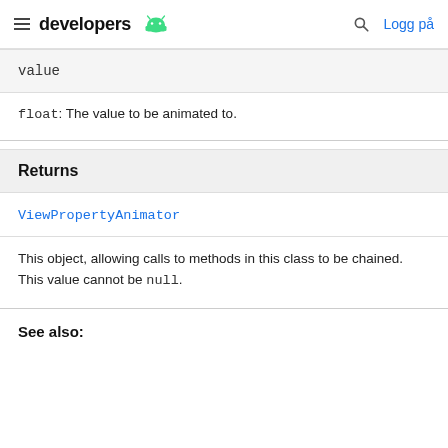developers — Logg på
| value |
| --- |
float: The value to be animated to.
Returns
| ViewPropertyAnimator |
| --- |
This object, allowing calls to methods in this class to be chained. This value cannot be null.
See also: